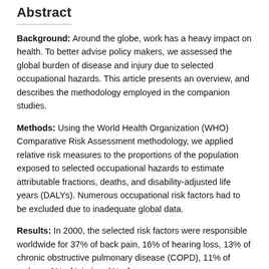Abstract
Background: Around the globe, work has a heavy impact on health. To better advise policy makers, we assessed the global burden of disease and injury due to selected occupational hazards. This article presents an overview, and describes the methodology employed in the companion studies.
Methods: Using the World Health Organization (WHO) Comparative Risk Assessment methodology, we applied relative risk measures to the proportions of the population exposed to selected occupational hazards to estimate attributable fractions, deaths, and disability-adjusted life years (DALYs). Numerous occupational risk factors had to be excluded due to inadequate global data.
Results: In 2000, the selected risk factors were responsible worldwide for 37% of back pain, 16% of hearing loss, 13% of chronic obstructive pulmonary disease (COPD), 11% of asthma, 8% of injuries, 9% of